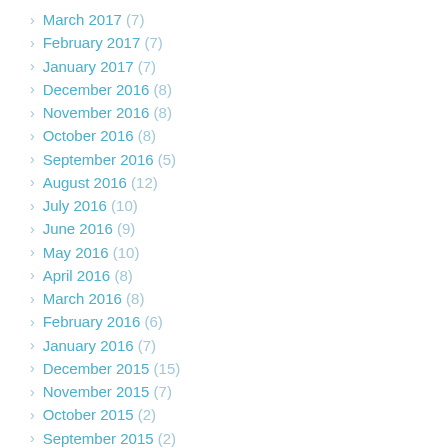March 2017 (7)
February 2017 (7)
January 2017 (7)
December 2016 (8)
November 2016 (8)
October 2016 (8)
September 2016 (5)
August 2016 (12)
July 2016 (10)
June 2016 (9)
May 2016 (10)
April 2016 (8)
March 2016 (8)
February 2016 (6)
January 2016 (7)
December 2015 (15)
November 2015 (7)
October 2015 (2)
September 2015 (2)